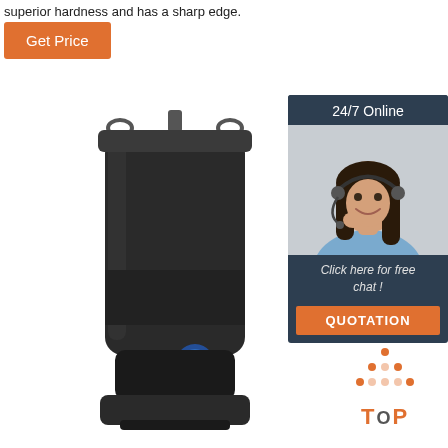superior hardness and has a sharp edge.
Get Price
[Figure (photo): Black submersible pump with lifting rings on top and a blue label sticker on the body]
[Figure (infographic): 24/7 Online chat widget with woman wearing headset, 'Click here for free chat!' text, and orange QUOTATION button]
[Figure (other): Orange and dark dots forming a triangle/arrow pointing up, with 'TOP' text below in orange]